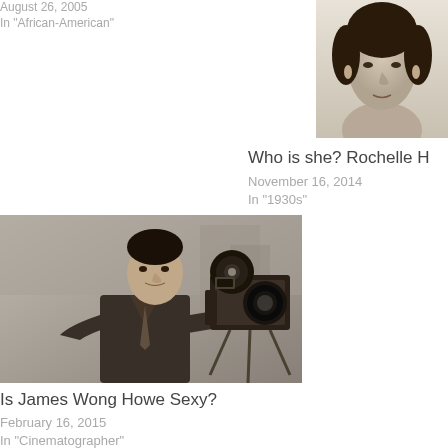August 26, 2005
In "African-American"
[Figure (photo): Black and white portrait photo of a woman, partially cropped, showing her face and upper shoulders]
Who is she? Rochelle H
November 16, 2014
In "1930s"
[Figure (photo): Black and white photo of James Wong Howe operating a large film camera]
Is James Wong Howe Sexy?
February 16, 2015
In "Cinematographer"